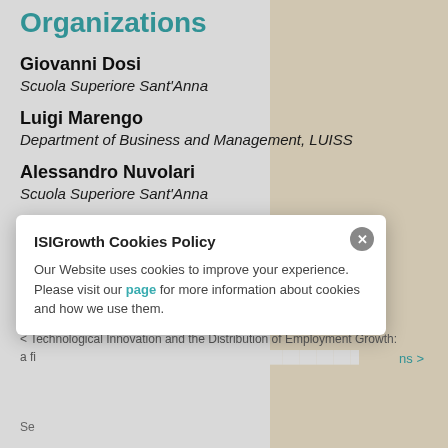Organizations
Giovanni Dosi
Scuola Superiore Sant'Anna
Luigi Marengo
Department of Business and Management, LUISS
Alessandro Nuvolari
Scuola Superiore Sant'Anna
Working Paper
35/2016 November
< Technological Innovation and the Distribution of Employment Growth: a fi...
ISIGrowth Cookies Policy
Our Website uses cookies to improve your experience. Please visit our page for more information about cookies and how we use them.